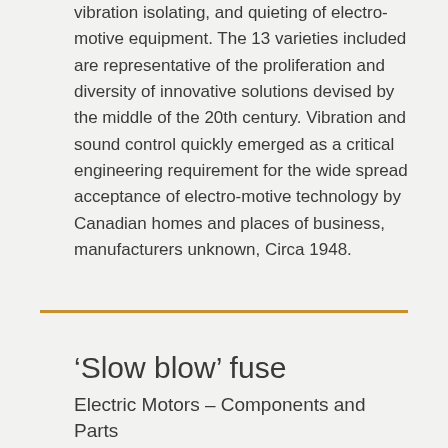vibration isolating, and quieting of electro-motive equipment. The 13 varieties included are representative of the proliferation and diversity of innovative solutions devised by the middle of the 20th century. Vibration and sound control quickly emerged as a critical engineering requirement for the wide spread acceptance of electro-motive technology by Canadian homes and places of business, manufacturers unknown, Circa 1948.
‘Slow blow’ fuse
Electric Motors – Components and Parts